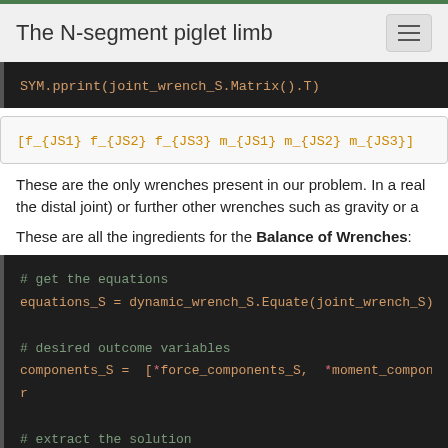The N-segment piglet limb
SYM.pprint(joint_wrench_S.Matrix().T)
[f_{JS1}  f_{JS2}  f_{JS3}  m_{JS1}  m_{JS2}  m_{JS3}]
These are the only wrenches present in our problem. In a real problem, you may have an external wrench applied (e.g. at the distal joint) or further other wrenches such as gravity or applied forces.
These are all the ingredients for the Balance of Wrenches:
# get the equations
equations_S = dynamic_wrench_S.Equate(joint_wrench_S)

# desired outcome variables
components_S =  [*force_components_S, *moment_components

# extract the solution
solutions = {}
for param, sol in SYM.solve(equations_S \